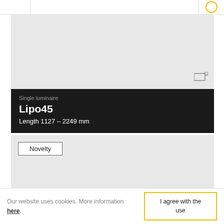[Figure (screenshot): Website header bar with navigation elements and a yellow circle icon on the right]
[Figure (photo): Product image area showing Lipo45 luminaire against grey background with resize icon in bottom right corner]
Single luminaire
Lipo45
Length 1127 – 2249 mm
[Figure (screenshot): Grey card area with a Novelty badge/label in the top left corner]
Our website uses cookies. More information here.
I agree with the use